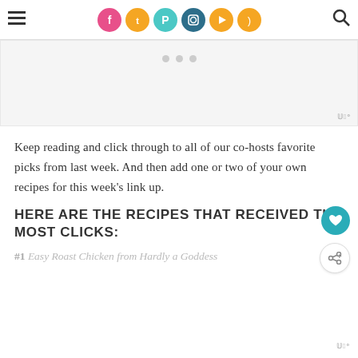Navigation header with hamburger menu, social icons (Facebook, Twitter, Pinterest, Instagram, YouTube, RSS), and search icon
[Figure (other): Gray advertisement placeholder area with Mediavine badge watermark and three dots indicating content]
Keep reading and click through to all of our co-hosts favorite picks from last week. And then add one or two of your own recipes for this week's link up.
HERE ARE THE RECIPES THAT RECEIVED THE MOST CLICKS:
#1 Easy Roast Chicken from Hardly a Goddess